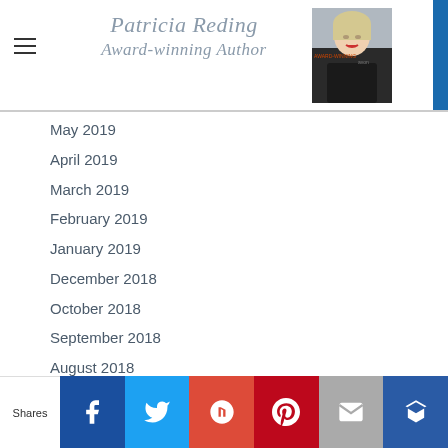Patricia Reding Award-winning Author
May 2019
April 2019
March 2019
February 2019
January 2019
December 2018
October 2018
September 2018
August 2018
July 2018
June 2018
May 2018
April 2018
March 2018
Shares | Facebook | Twitter | Google+ | Pinterest | Email | Crown